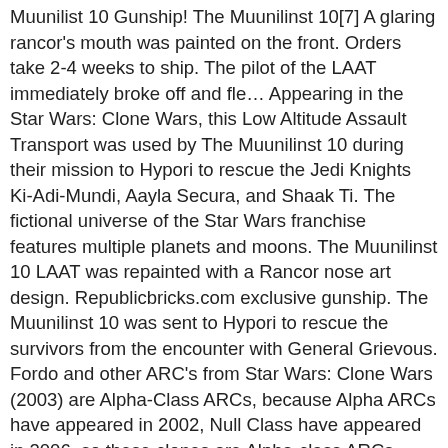Muunilist 10 Gunship! The Muunilinst 10[7] A glaring rancor's mouth was painted on the front. Orders take 2-4 weeks to ship. The pilot of the LAAT immediately broke off and fle… Appearing in the Star Wars: Clone Wars, this Low Altitude Assault Transport was used by The Muunilinst 10 during their mission to Hypori to rescue the Jedi Knights Ki-Adi-Mundi, Aayla Secura, and Shaak Ti. The fictional universe of the Star Wars franchise features multiple planets and moons. The Muunilinst 10 LAAT was repainted with a Rancor nose art design. Republicbricks.com exclusive gunship. The Muunilinst 10 was sent to Hypori to rescue the survivors from the encounter with General Grievous. Fordo and other ARC's from Star Wars: Clone Wars (2003) are Alpha-Class ARCs, because Alpha ARCs have appeared in 2002, Null Class have appeared in 2006, so these clones are Alpha-class ARCs. Affiliation The Muunilinst 10 gunship! Chapter 452: Able-472 from the Muunilinst 10. ADD TO CART. It is the third version of the Republic Gunship that has appeared in the Star Wars franchise. A pattern of jagged blue isosceles triangles extended